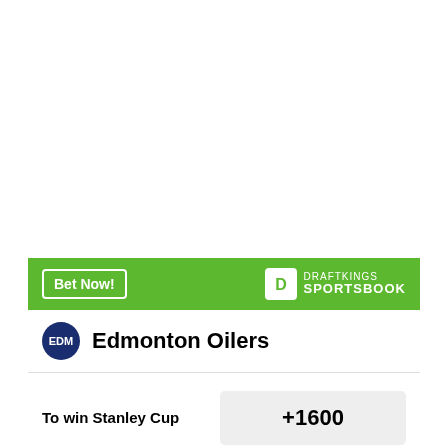[Figure (other): DraftKings Sportsbook betting widget for Edmonton Oilers showing odds to win Stanley Cup (+1600) and Western Conference (+600)]
Bet Now!
DRAFTKINGS SPORTSBOOK
Edmonton Oilers
To win Stanley Cup
+1600
To win Western Conference
+600